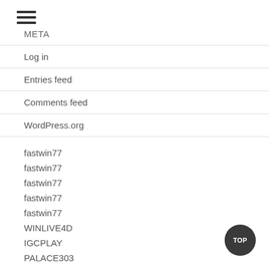[Figure (other): Hamburger menu icon with three horizontal lines]
META
Log in
Entries feed
Comments feed
WordPress.org
fastwin77
fastwin77
fastwin77
fastwin77
fastwin77
WINLIVE4D
IGCPLAY
PALACE303